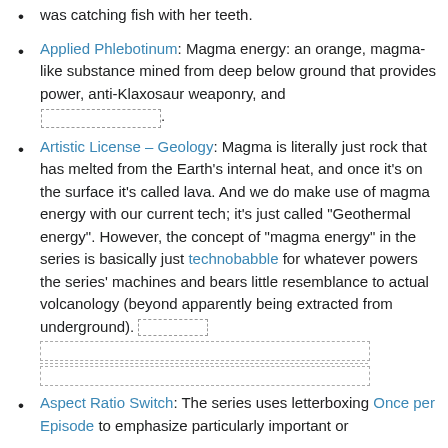was catching fish with her teeth.
Applied Phlebotinum: Magma energy: an orange, magma-like substance mined from deep below ground that provides power, anti-Klaxosaur weaponry, and [redacted].
Artistic License – Geology: Magma is literally just rock that has melted from the Earth's internal heat, and once it's on the surface it's called lava. And we do make use of magma energy with our current tech; it's just called "Geothermal energy". However, the concept of "magma energy" in the series is basically just technobabble for whatever powers the series' machines and bears little resemblance to actual volcanology (beyond apparently being extracted from underground). [redacted blocks]
Aspect Ratio Switch: The series uses letterboxing Once per Episode to emphasize particularly important or